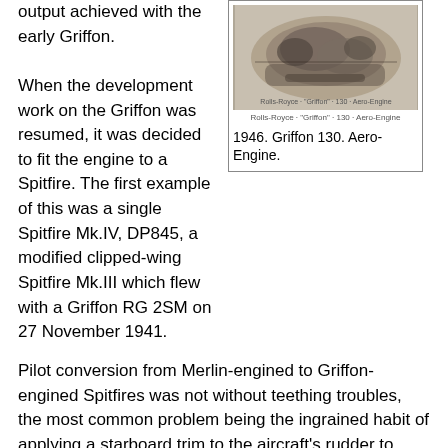output achieved with the early Griffon.
[Figure (photo): Photograph of the Griffon 130 Aero-Engine, a large aircraft engine, shown from a side/front angle. Black and white image.]
1946. Griffon 130. Aero-Engine.
When the development work on the Griffon was resumed, it was decided to fit the engine to a Spitfire. The first example of this was a single Spitfire Mk.IV, DP845, a modified clipped-wing Spitfire Mk.III which flew with a Griffon RG 2SM on 27 November 1941.
Pilot conversion from Merlin-engined to Griffon-engined Spitfires was not without teething troubles, the most common problem being the ingrained habit of applying a starboard trim to the aircraft's rudder to offset the tremendous torque produced at takeoff power. As the Griffon's crankshaft rotated in the opposite direction to that of the Merlin (a legacy of its intended use for naval aircraft, where it is desirable for aircraft to swing to port, away from the carrier's superstructure), a starboard bias